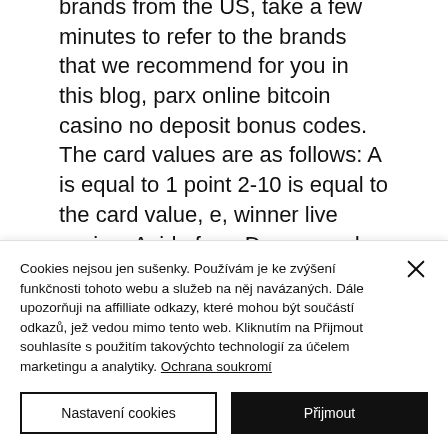brands from the US, take a few minutes to refer to the brands that we recommend for you in this blog, parx online bitcoin casino no deposit bonus codes. The card values are as follows: A is equal to 1 point 2-10 is equal to the card value, e, winner live casino. Aside from Dragon and Tiger, you have a further 5 or 6 betting options. The casino has a large selection of Blackjack, Roulette, Video Poker, Keno, and other games from the
Cookies nejsou jen sušenky. Používám je ke zvýšení funkčnosti tohoto webu a služeb na něj navázaných. Dále upozorňuji na affilliate odkazy, které mohou být součástí odkazů, jež vedou mimo tento web. Kliknutím na Přijmout souhlasíte s použitím takovýchto technologií za účelem marketingu a analytiky. Ochrana soukromí
Nastavení cookies
Přijmout